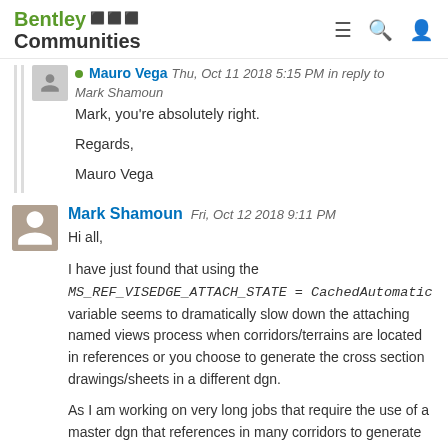Bentley Communities
Mauro Vega  Thu, Oct 11 2018 5:15 PM  in reply to Mark Shamoun
Mark, you're absolutely right.
Regards,
Mauro Vega
Mark Shamoun  Fri, Oct 12 2018 9:11 PM
Hi all,
I have just found that using the MS_REF_VISEDGE_ATTACH_STATE = CachedAutomatic variable seems to dramatically slow down the attaching named views process when corridors/terrains are located in references or you choose to generate the cross section drawings/sheets in a different dgn.
As I am working on very long jobs that require the use of a master dgn that references in many corridors to generate my cross sections, ill have to probably run a batch script to use the "reference visibleedges allattachments cached" keyin on all cross sections until this is fixed.